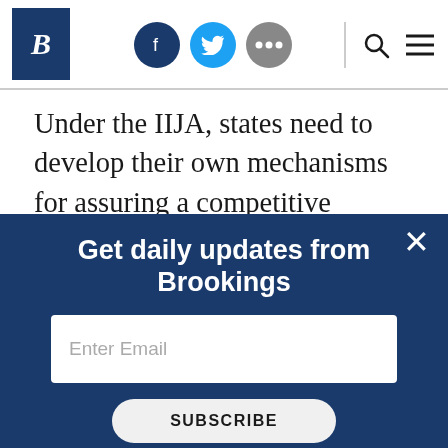Brookings Institution header with logo, social icons (Facebook, Twitter, More), search and menu
Under the IIJA, states need to develop their own mechanisms for assuring a competitive process drives the subsidy required for each project and avoids political favoritism or other problematic criteria. NTIA, which has considerable expertise in competitive grants, should work with the states to
[Figure (screenshot): Brookings newsletter signup overlay: 'Get daily updates from Brookings' with email input field and Subscribe button on dark navy background]